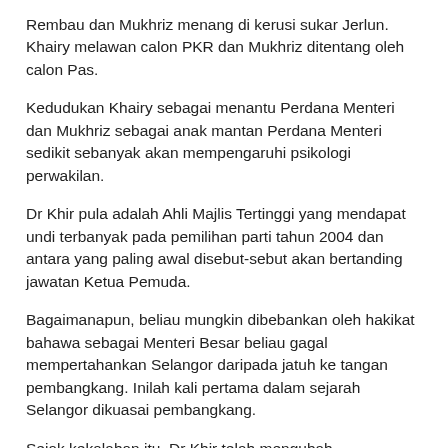Rembau dan Mukhriz menang di kerusi sukar Jerlun. Khairy melawan calon PKR dan Mukhriz ditentang oleh calon Pas.
Kedudukan Khairy sebagai menantu Perdana Menteri dan Mukhriz sebagai anak mantan Perdana Menteri sedikit sebanyak akan mempengaruhi psikologi perwakilan.
Dr Khir pula adalah Ahli Majlis Tertinggi yang mendapat undi terbanyak pada pemilihan parti tahun 2004 dan antara yang paling awal disebut-sebut akan bertanding jawatan Ketua Pemuda.
Bagaimanapun, beliau mungkin dibebankan oleh hakikat bahawa sebagai Menteri Besar beliau gagal mempertahankan Selangor daripada jatuh ke tangan pembangkang. Inilah kali pertama dalam sejarah Selangor dikuasai pembangkang.
Sejak kekalahan itu, Dr Khir telah mengubah pendiriannya menjadi seorang penggiat yang kritikal terhadap kepemimpinan parti dengan memulakan blognya sendiri dan berdengan dengan ahli Umno.